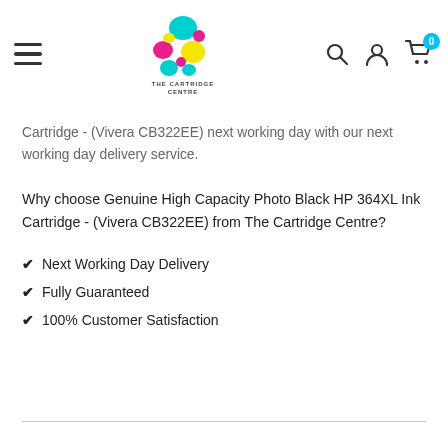[Figure (logo): The Cartridge Centre logo — colorful triangle made of cyan, magenta, yellow and teal circles/blobs, with text 'THE CARTRIDGE CENTRE' below]
Cartridge - (Vivera CB322EE) next working day with our next working day delivery service.
Why choose Genuine High Capacity Photo Black HP 364XL Ink Cartridge - (Vivera CB322EE) from The Cartridge Centre?
Next Working Day Delivery
Fully Guaranteed
100% Customer Satisfaction